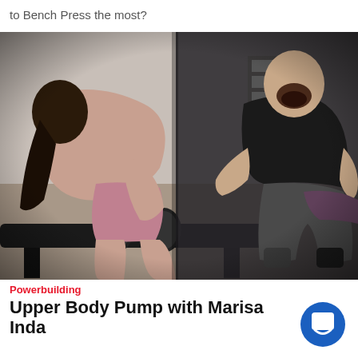to Bench Press the most?
[Figure (photo): Two gym photos side by side: left shows a muscular woman in a pink outfit doing a dumbbell row bent over a bench; right shows a bald man in a black t-shirt and shorts enthusiastically coaching/spotting someone lifting weights in a gym.]
Powerbuilding
Upper Body Pump with Marisa Inda
[Figure (logo): Blue circle with a white chat/book icon inside]